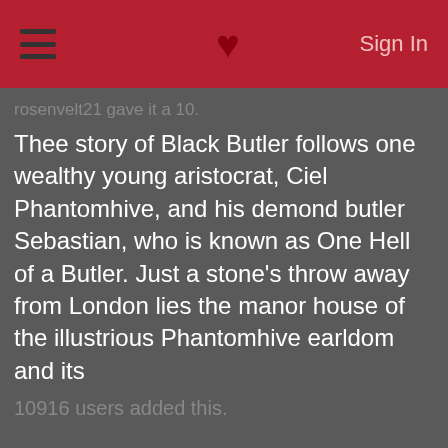Sign In
rosenvelt21 gave it a 10.
Thee story of Black Butler follows one wealthy young aristocrat, Ciel Phantomhive, and his demond butler Sebastian, who is known as One Hell of a Butler. Just a stone's throw away from London lies the manor house of the illustrious Phantomhive earldom and its
10916 users added this.
[Figure (illustration): Anime illustration showing High School Of The Dead characters in school uniforms]
High School Of The Dead [TV]
rosenvelt21 gave it a 10.
A group of high school teenagers are suprised one day to find that the citizens of Tokyo are turning into